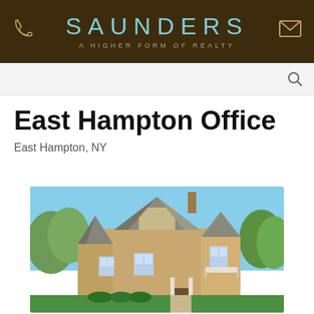SAUNDERS A HIGHER FORM OF REALTY
East Hampton Office
East Hampton, NY
[Figure (photo): Exterior photo of a large shingle-style house with gambrel roof, multiple dormers, white trim, balcony, and lush green landscaping under a blue sky.]